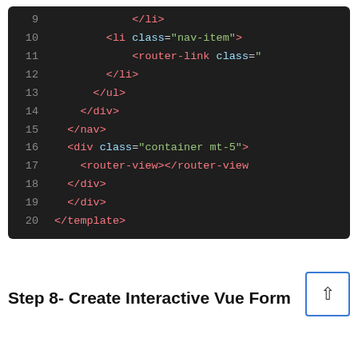[Figure (screenshot): Code editor screenshot showing HTML/Vue template lines 9–20 with syntax highlighting on dark background. Lines show closing li, nav-item li, router-link, closing li, ul, div, nav, div with container mt-5 class, router-view, closing divs, and closing template tags.]
Step 8- Create Interactive Vue Form